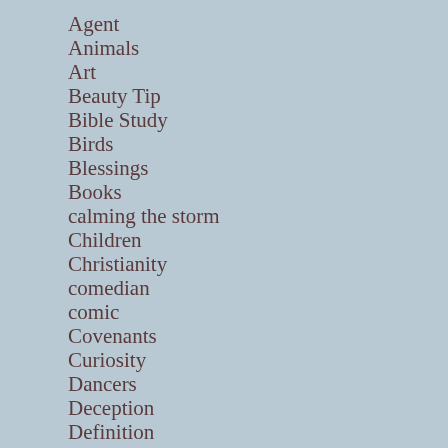Agent
Animals
Art
Beauty Tip
Bible Study
Birds
Blessings
Books
calming the storm
Children
Christianity
comedian
comic
Covenants
Curiosity
Dancers
Deception
Definition